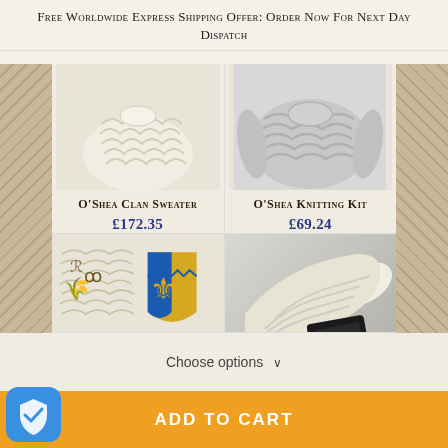Free Worldwide Express Shipping Offer: Order Now For Next Day Dispatch
[Figure (photo): O'Shea Clan Sweater product image - cream/ivory cable knit sweater]
O'Shea Clan Sweater
£172.35
[Figure (photo): O'Shea Knitting Kit product image - grey cable knit sweater detail]
O'Shea Knitting Kit
£69.24
[Figure (photo): O'Shea Clan Sweater product image showing clan pattern badge with blue and yellow heraldic shield and sweater knitting pattern detail]
[Figure (photo): O'Shea Knitting Kit product image showing cream cable knit fabric rolled up with a family crest card]
Choose options ∨
ADD TO CART